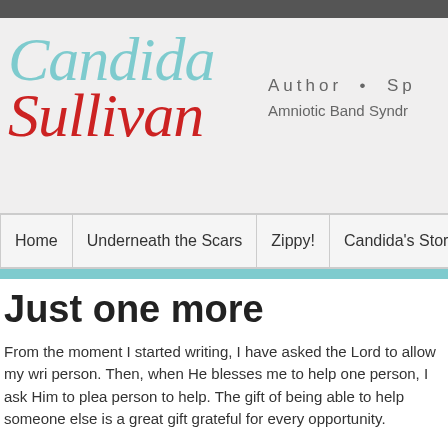Candida Sullivan — Author · Speaker · Amniotic Band Syndrome
[Figure (logo): Candida Sullivan logo — 'Candida' in teal cursive script, 'Sullivan' in red cursive script]
Author  •  Sp  Amniotic Band Syndr
Just one more
From the moment I started writing, I have asked the Lord to allow my wri person. Then, when He blesses me to help one person, I ask Him to plea person to help. The gift of being able to help someone else is a great gift grateful for every opportunity.